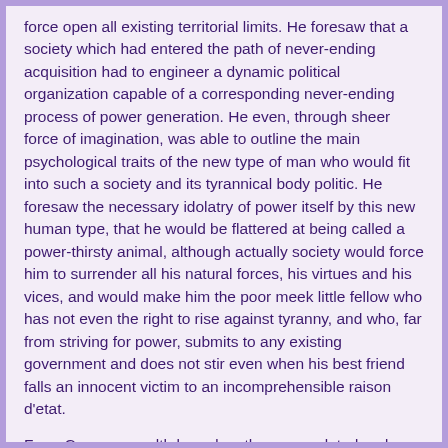force open all existing territorial limits. He foresaw that a society which had entered the path of never-ending acquisition had to engineer a dynamic political organization capable of a corresponding never-ending process of power generation. He even, through sheer force of imagination, was able to outline the main psychological traits of the new type of man who would fit into such a society and its tyrannical body politic. He foresaw the necessary idolatry of power itself by this new human type, that he would be flattered at being called a power-thirsty animal, although actually society would force him to surrender all his natural forces, his virtues and his vices, and would make him the poor meek little fellow who has not even the right to rise against tyranny, and who, far from striving for power, submits to any existing government and does not stir even when his best friend falls an innocent victim to an incomprehensible raison d'etat.
For a Commonwealth based on the accumulated and monopolized power of all its individual members necessarily leaves each person